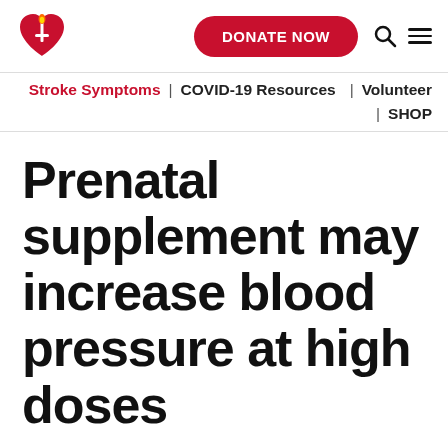[Figure (logo): American Heart Association logo: red heart with flame and torch]
DONATE NOW | Search | Menu
Stroke Symptoms | COVID-19 Resources | Volunteer | SHOP
Prenatal supplement may increase blood pressure at high doses
By American Heart Association News